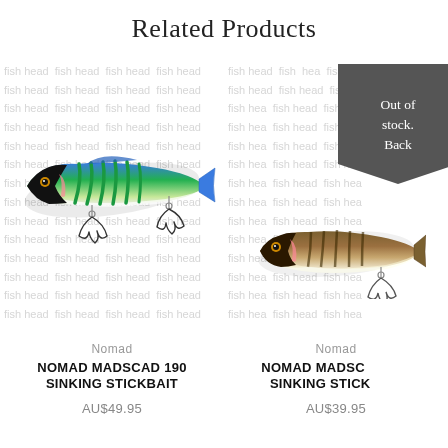Related Products
[Figure (photo): Nomad MadScad 190 sinking stickbait fishing lure in green and blue mackerel color with two treble hooks, shown on watermarked background with 'fish head' text]
Nomad
NOMAD MADSCAD 190 SINKING STICKBAIT
AU$49.95
[Figure (photo): Nomad MadScad sinking stickbait fishing lure in natural brown/olive color with one visible treble hook, partially obscured by a dark gray hexagonal 'Out of stock. Back' badge, on watermarked background]
Nomad
NOMAD MADSCAD SINKING STICKBAIT
AU$39.95